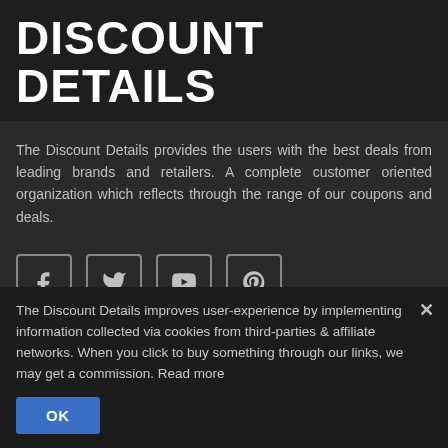DISCOUNT DETAILS
The Discount Details provides the users with the best deals from leading brands and retailers. A complete customer oriented organization which reflects through the range of our coupons and deals.
[Figure (infographic): Four social media icon buttons in rounded square borders: Facebook (f), Twitter (bird), YouTube (play button with 'Tube' label), Pinterest (P)]
ABOUT
About Us
The Discount Details improves user-experience by implementing information collected via cookies from third-parties & affiliate networks. When you click to buy something through our links, we may get a commission. Read more
OK